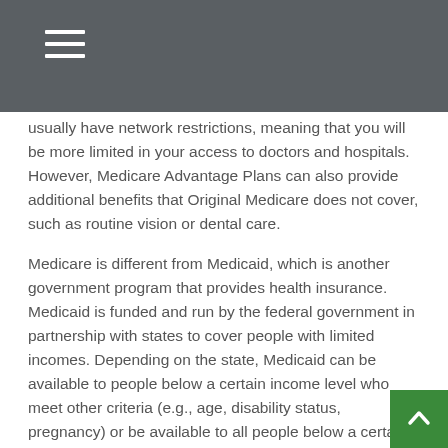usually have network restrictions, meaning that you will be more limited in your access to doctors and hospitals. However, Medicare Advantage Plans can also provide additional benefits that Original Medicare does not cover, such as routine vision or dental care.
Medicare is different from Medicaid, which is another government program that provides health insurance. Medicaid is funded and run by the federal government in partnership with states to cover people with limited incomes. Depending on the state, Medicaid can be available to people below a certain income level who meet other criteria (e.g., age, disability status, pregnancy) or be available to all people below a certain income level. Remember, unlike Medicaid, Medicare eligibility does not depend on income. Also, eligible individuals can have both Medicare and Medicaid and, as an eligible individual,